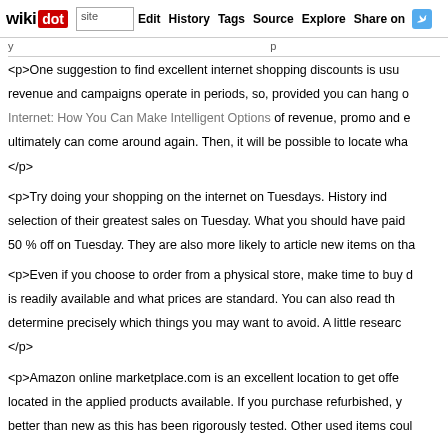wikidot | site | Edit | History | Tags | Source | Explore | Share on Twitter
<p>One suggestion to find excellent internet shopping discounts is usu revenue and campaigns operate in periods, so, provided you can hang o Internet: How You Can Make Intelligent Options of revenue, promo and ultimately can come around again. Then, it will be possible to locate wha </p>
<p>Try doing your shopping on the internet on Tuesdays. History ind selection of their greatest sales on Tuesday. What you should have paid 50 % off on Tuesday. They are also more likely to article new items on tha
<p>Even if you choose to order from a physical store, make time to buy is readily available and what prices are standard. You can also read th determine precisely which things you may want to avoid. A little researc </p>
<p>Amazon online marketplace.com is an excellent location to get offe located in the applied products available. If you purchase refurbished, y better than new as this has been rigorously tested. Other used items coul
<p>When you are evaluating costs on the internet, make certain you tak That features the item price, taxation and delivery charges. Transport c status, but you will need to pay revenue tax. So, tally up every little th acquire.</p>
<p>A lot of shopping on the internet websites permit you to create a &qu products which you are searching for to make sure they are simpler to retail outlet all year long. A further advantages is that the website will mo to enable you to benefit from the price savings.</p>